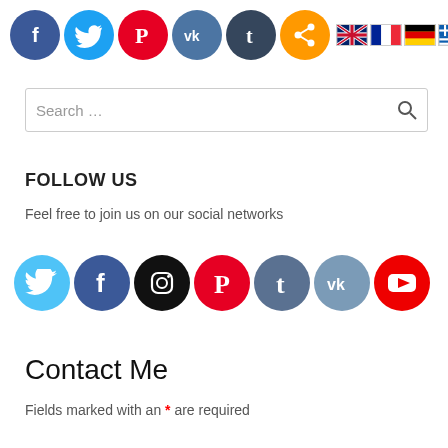[Figure (infographic): Row of social media share icons (Facebook, Twitter, Pinterest, VK, Tumblr, Share) as colored circles, followed by country flag icons (UK, France, Germany, Greece, Italy, Spain, Turkey)]
[Figure (screenshot): Search input box with placeholder text 'Search ...' and a search magnifying glass icon on the right]
FOLLOW US
Feel free to join us on our social networks
[Figure (infographic): Row of social media icons as colored circles: Twitter (light blue), Facebook (dark blue), Instagram (black), Pinterest (red), Tumblr (dark grayish blue), VK (steel blue), YouTube (red)]
Contact Me
Fields marked with an * are required